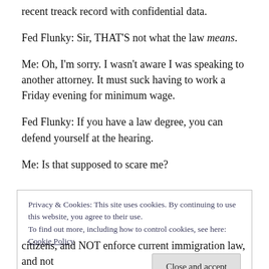recent treack record with confidential data.
Fed Flunky: Sir, THAT'S not what the law means.
Me: Oh, I'm sorry. I wasn't aware I was speaking to another attorney. It must suck having to work a Friday evening for minimum wage.
Fed Flunky: If you have a law degree, you can defend yourself at the hearing.
Me: Is that supposed to scare me?
Privacy & Cookies: This site uses cookies. By continuing to use this website, you agree to their use. To find out more, including how to control cookies, see here: Cookie Policy
citizens, and NOT enforce current immigration law, and not